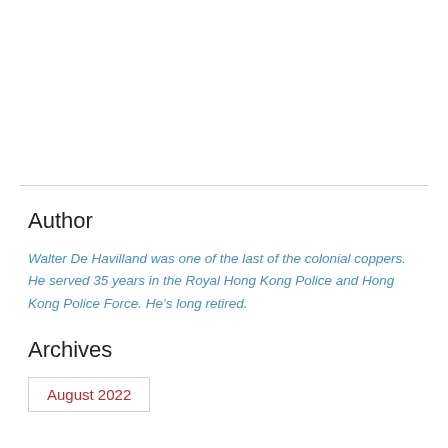Author
Walter De Havilland was one of the last of the colonial coppers. He served 35 years in the Royal Hong Kong Police and Hong Kong Police Force. He's long retired.
Archives
August 2022